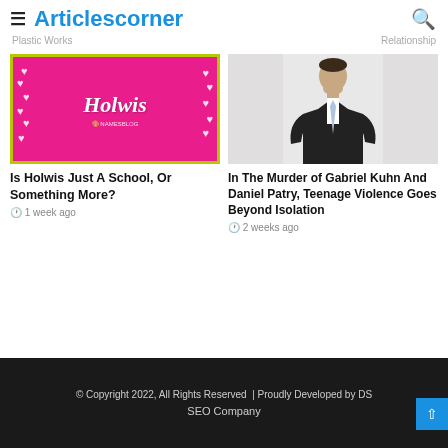Articlescorner
Plastic Works
Relationship
[Figure (illustration): Pink background card with white hearts and cursive text 'Holwis' with a small logo below]
Is Holwis Just A School, Or Something More?
1 week ago
[Figure (photo): Man in black suit and light blue tie with hands on hips, looking up, white background]
In The Murder of Gabriel Kuhn And Daniel Patry, Teenage Violence Goes Beyond Isolation
2 weeks ago
© Copyright 2022, All Rights Reserved  | Proudly Developed by DS SEO Company